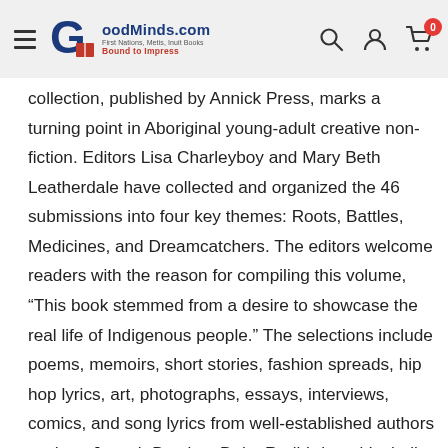GoodMinds.com — First Nations, Metis, Inuit Books — Bound to Impress
collection, published by Annick Press, marks a turning point in Aboriginal young-adult creative non-fiction. Editors Lisa Charleyboy and Mary Beth Leatherdale have collected and organized the 46 submissions into four key themes: Roots, Battles, Medicines, and Dreamcatchers. The editors welcome readers with the reason for compiling this volume, “This book stemmed from a desire to showcase the real life of Indigenous people.” The selections include poems, memoirs, short stories, fashion spreads, hip hop lyrics, art, photographs, essays, interviews, comics, and song lyrics from well-established authors such as Joseph Boyden, Duke Redbird, and Isabelle Knockwood to aspiring artists such as grade 3 student Macheshuu Needganaqwedgin, Chayla Dekorme